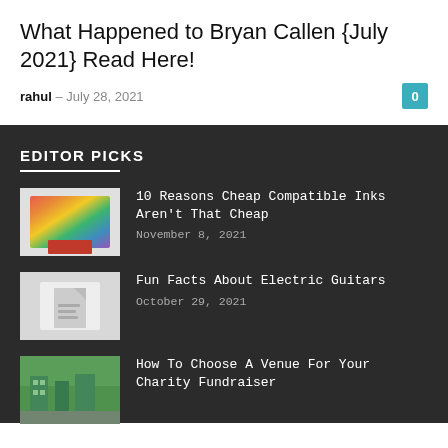What Happened to Bryan Callen {July 2021} Read Here!
rahul – July 28, 2021
EDITOR PICKS
[Figure (photo): Hands holding a colorful printed photo with rainbow colors]
10 Reasons Cheap Compatible Inks Aren't That Cheap
November 8, 2021
[Figure (photo): Placeholder image with document icon]
Fun Facts About Electric Guitars
October 29, 2021
[Figure (photo): Outdoor venue or street scene with greenery]
How To Choose A Venue For Your Charity Fundraiser